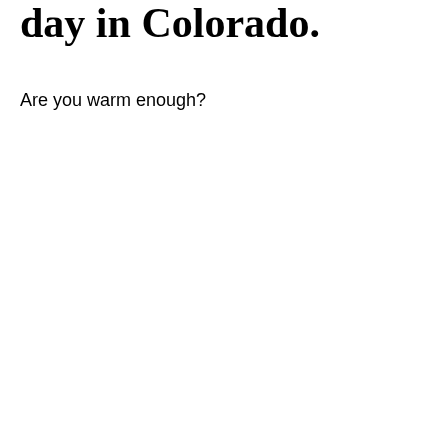day in Colorado.
Are you warm enough?